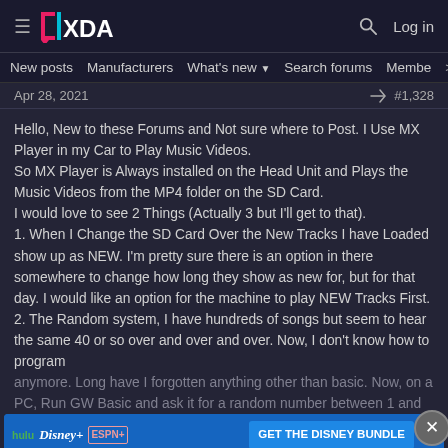XDA Forums — hamburger menu, logo, search, Log in
New posts  Manufacturers  What's new ▾  Search forums  Members  >
Apr 28, 2021  #1,328
Hello, New to these Forums and Not sure where to Post. I Use MX Player in my Car to Play Music Videos.
So MX Player is Always installed on the Head Unit and Plays the Music Videos from the MP4 folder on the SD Card.
I would love to see 2 Things (Actually 3 but I'll get to that).
1. When I Change the SD Card Over the New Tracks I have Loaded show up as NEW. I'm pretty sure there is an option in there somewhere to change how long they show as new for, but for that day. I would like an option for the machine to play NEW Tracks First.
2. The Random system, I have hundreds of songs but seem to hear the same 40 or so over and over and over. Now, I don't know how to program anymore. Long have I forgotten anything other than basic. Now, on a PC, Run GW Basic and ask it for a random number between 1 and 100. The first will be... [ad overlays text] ...the mad for a long... random number generator today function. The pc used to have a timer that you could pull a number from. I guess the same from an android device or
[Figure (screenshot): Disney Bundle advertisement banner: Hulu, Disney+, ESPN+ logos with 'GET THE DISNEY BUNDLE' CTA button. Fine print: Incl. Hulu (ad-supported) or Hulu (No Ads). Access content from each service separately. ©2021 Disney and its related entities.]